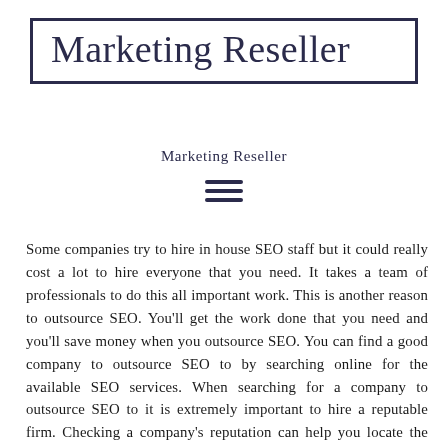Marketing Reseller
Marketing Reseller
Some companies try to hire in house SEO staff but it could really cost a lot to hire everyone that you need. It takes a team of professionals to do this all important work. This is another reason to outsource SEO. You'll get the work done that you need and you'll save money when you outsource SEO. You can find a good company to outsource SEO to by searching online for the available SEO services. When searching for a company to outsource SEO to it is extremely important to hire a reputable firm. Checking a company's reputation can help you locate the best